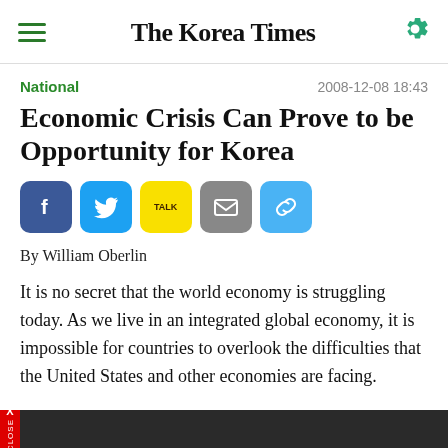The Korea Times
National
2008-12-08 18:43
Economic Crisis Can Prove to be Opportunity for Korea
[Figure (other): Social sharing buttons: Facebook, Twitter, KakaoTalk, Email, Link]
By William Oberlin
It is no secret that the world economy is struggling today. As we live in an integrated global economy, it is impossible for countries to overlook the difficulties that the United States and other economies are facing.
X CLOSE (advertisement bar)